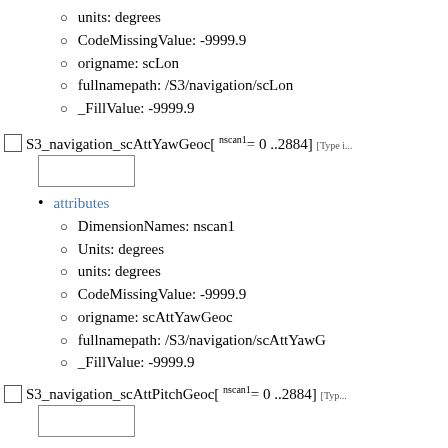units: degrees
CodeMissingValue: -9999.9
origname: scLon
fullnamepath: /S3/navigation/scLon
_FillValue: -9999.9
S3_navigation_scAttYawGeoc[ nscan1= 0 ..2884] [Type info truncated]
attributes
DimensionNames: nscan1
Units: degrees
units: degrees
CodeMissingValue: -9999.9
origname: scAttYawGeoc
fullnamepath: /S3/navigation/scAttYawG
_FillValue: -9999.9
S3_navigation_scAttPitchGeoc[ nscan1= 0 ..2884] [Type info truncated]
attributes
DimensionNames: nscan1
Units: degrees
units: degrees